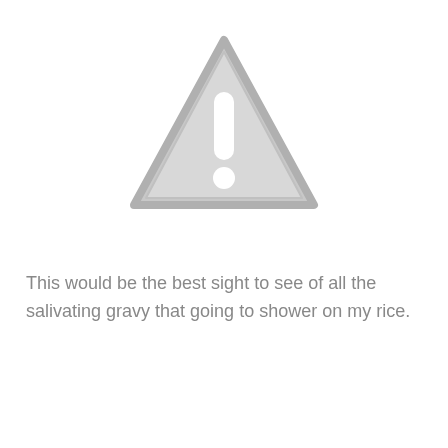[Figure (illustration): A gray warning triangle with an exclamation mark icon, centered in the upper portion of the page.]
This would be the best sight to see of all the salivating gravy that going to shower on my rice.